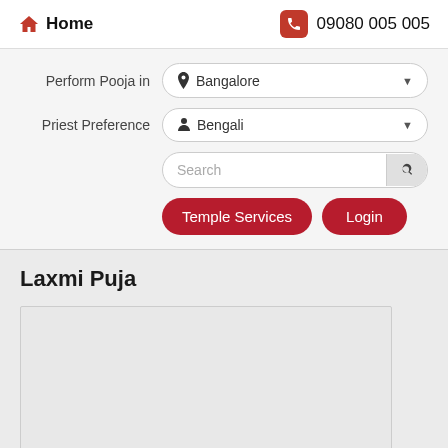Home   09080 005 005
Perform Pooja in   Bangalore
Priest Preference   Bengali
Search
Temple Services   Login
Laxmi Puja
[Figure (other): Empty image placeholder box for Laxmi Puja]